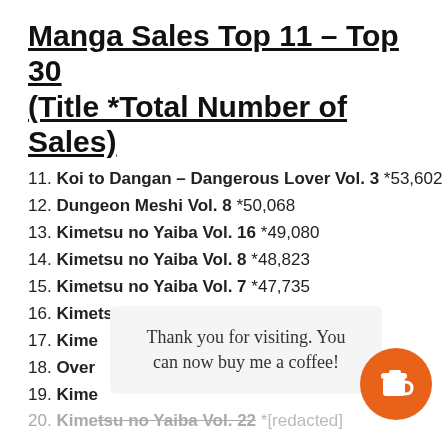Manga Sales Top 11 – Top 30 (Title *Total Number of Sales)
11. Koi to Dangan – Dangerous Lover Vol. 3 *53,602
12. Dungeon Meshi Vol. 8 *50,068
13. Kimetsu no Yaiba Vol. 16 *49,080
14. Kimetsu no Yaiba Vol. 8 *48,823
15. Kimetsu no Yaiba Vol. 7 *47,735
16. Kimetsu no Yaiba Vol. 9 *46,690
17. Kime[truncated]
18. Over[truncated]
19. Kime[truncated]
20. Kimetsu no Yaiba Vol. 22 *[truncated]
Thank you for visiting. You can now buy me a coffee!